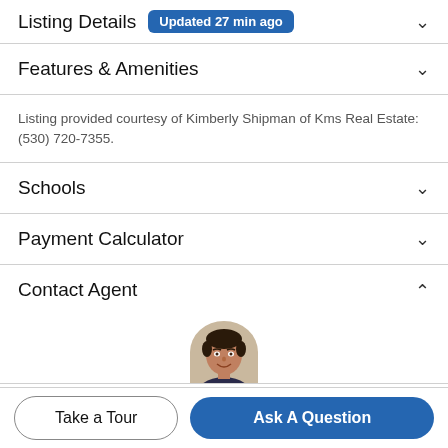Listing Details Updated 27 min ago
Features & Amenities
Listing provided courtesy of Kimberly Shipman of Kms Real Estate: (530) 720-7355.
Schools
Payment Calculator
Contact Agent
[Figure (photo): Partial photo of a real estate agent's head/face, cropped at top.]